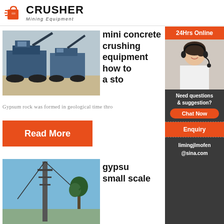[Figure (logo): Crusher Mining Equipment logo with red shopping bag icon and bold CRUSHER text]
[Figure (photo): Photo of large blue industrial mobile crushing equipment/machines on dirt ground]
mini concrete crushing equipment how to a stone
Gypsum rock was formed in geological time thro
Read More
[Figure (photo): Photo of industrial equipment/tower with sky and tree in background]
gypsu small scale
[Figure (infographic): Sidebar with 24Hrs Online label, customer service woman with headset photo, Need questions & suggestion text, Chat Now button, Enquiry section, limingjlmofen@sina.com email]